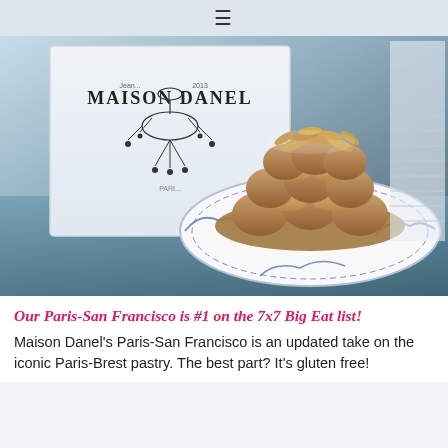≡
[Figure (photo): A Paris-San Francisco pastry (Paris-Brest style) on a blue and white decorative plate, topped with sliced almonds and cream filling, with a Maison Danel branded box visible in the background showing a chandelier illustration and the text 'Maison Danel'.]
Our Paris-San Francisco is #1 on the 7x7 Big Eat list!
Maison Danel's Paris-San Francisco is an updated take on the iconic Paris-Brest pastry. The best part? It's gluten free!